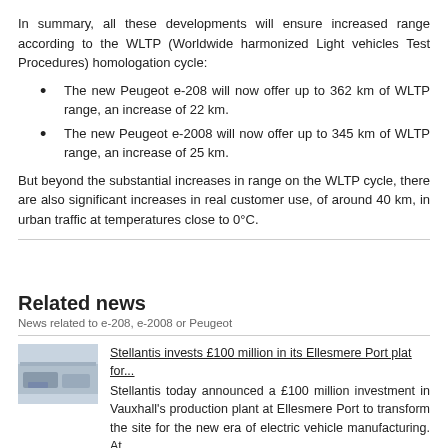In summary, all these developments will ensure increased range according to the WLTP (Worldwide harmonized Light vehicles Test Procedures) homologation cycle:
The new Peugeot e-208 will now offer up to 362 km of WLTP range, an increase of 22 km.
The new Peugeot e-2008 will now offer up to 345 km of WLTP range, an increase of 25 km.
But beyond the substantial increases in range on the WLTP cycle, there are also significant increases in real customer use, of around 40 km, in urban traffic at temperatures close to 0°C.
Related news
News related to e-208, e-2008 or Peugeot
Stellantis invests £100 million in its Ellesmere Port plat for... Stellantis today announced a £100 million investment in Vauxhall's production plant at Ellesmere Port to transform the site for the new era of electric vehicle manufacturing. At
6 July 2021